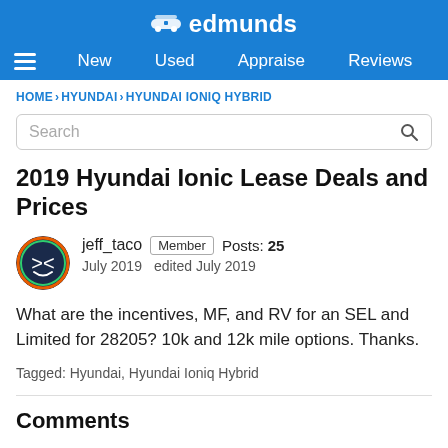edmunds
New  Used  Appraise  Reviews
HOME › HYUNDAI › HYUNDAI IONIQ HYBRID
Search
2019 Hyundai Ionic Lease Deals and Prices
jeff_taco  Member  Posts: 25
July 2019   edited July 2019
What are the incentives, MF, and RV for an SEL and Limited for 28205? 10k and 12k mile options. Thanks.
Tagged: Hyundai, Hyundai Ioniq Hybrid
Comments